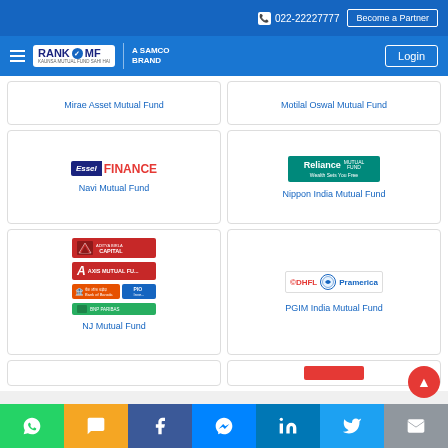022-22227777 | Become a Partner
[Figure (logo): RankMF - A Samco Brand navigation header with Login button]
Mirae Asset Mutual Fund
Motilal Oswal Mutual Fund
[Figure (logo): Essel Finance logo]
Navi Mutual Fund
[Figure (logo): Reliance Mutual Fund logo - Wealth Sets You Free]
Nippon India Mutual Fund
[Figure (logo): NJ Mutual Fund - multiple logos including Aditya Birla Capital, Axis Mutual Fund, Bank of Baroda, PIO, BNP Paribas]
NJ Mutual Fund
[Figure (logo): DHFL Pramerica logo]
PGIM India Mutual Fund